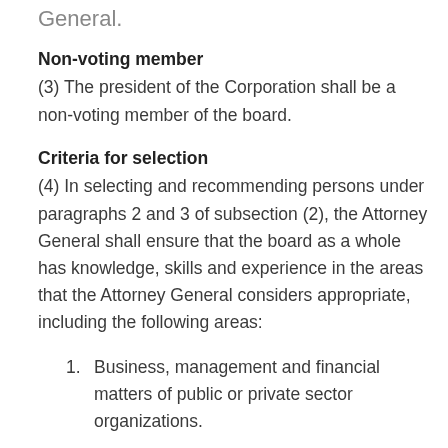General.
Non-voting member
(3) The president of the Corporation shall be a non-voting member of the board.
Criteria for selection
(4) In selecting and recommending persons under paragraphs 2 and 3 of subsection (2), the Attorney General shall ensure that the board as a whole has knowledge, skills and experience in the areas that the Attorney General considers appropriate, including the following areas:
1. Business, management and financial matters of public or private sector organizations.
2. (truncated)